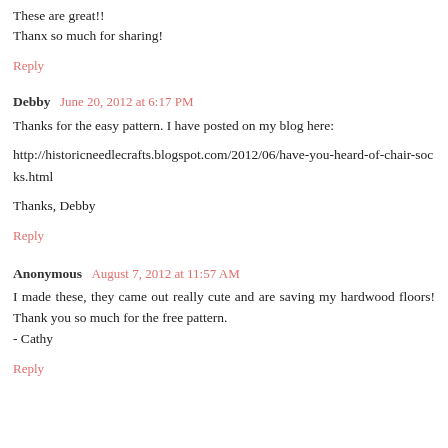These are great!! Thanx so much for sharing!
Reply
Debby  June 20, 2012 at 6:17 PM
Thanks for the easy pattern. I have posted on my blog here:
http://historicneedlecrafts.blogspot.com/2012/06/have-you-heard-of-chair-socks.html
Thanks, Debby
Reply
Anonymous  August 7, 2012 at 11:57 AM
I made these, they came out really cute and are saving my hardwood floors! Thank you so much for the free pattern.
- Cathy
Reply